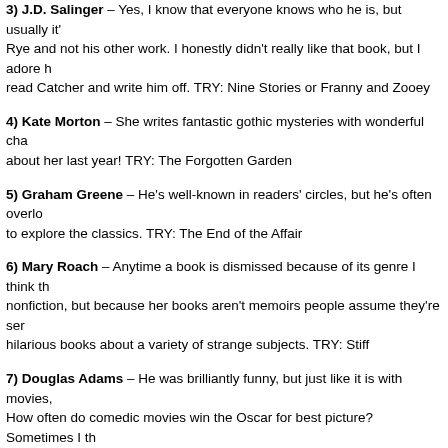3) J.D. Salinger – Yes, I know that everyone knows who he is, but usually it's Rye and not his other work. I honestly didn't really like that book, but I adore h read Catcher and write him off. TRY: Nine Stories or Franny and Zooey
4) Kate Morton – She writes fantastic gothic mysteries with wonderful cha about her last year! TRY: The Forgotten Garden
5) Graham Greene – He's well-known in readers' circles, but he's often overlo to explore the classics. TRY: The End of the Affair
6) Mary Roach – Anytime a book is dismissed because of its genre I think th nonfiction, but because her books aren't memoirs people assume they're ser hilarious books about a variety of strange subjects. TRY: Stiff
7) Douglas Adams – He was brilliantly funny, but just like it is with movies, How often do comedic movies win the Oscar for best picture? Sometimes I th be funny than to be serious. TRY: The Hitchhiker's Guide to the Galaxy
8) E.M. Forster – I have no idea why, but he's never at the top of any "Best are some of my favorites! TRY: Howards End or A Room with a View